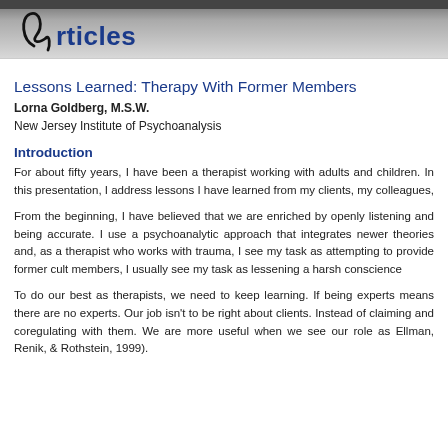[Figure (logo): Articles logo with stylized cursive letter A and bold blue text 'rticles']
Lessons Learned: Therapy With Former Members
Lorna Goldberg, M.S.W.
New Jersey Institute of Psychoanalysis
Introduction
For about fifty years, I have been a therapist working with adults and children. In this presentation, I address lessons I have learned from my clients, my colleagues,
From the beginning, I have believed that we are enriched by openly listening and being accurate. I use a psychoanalytic approach that integrates newer theories and, as a therapist who works with trauma, I see my task as attempting to provide former cult members, I usually see my task as lessening a harsh conscience
To do our best as therapists, we need to keep learning. If being experts means there are no experts. Our job isn't to be right about clients. Instead of claiming and coregulating with them. We are more useful when we see our role as Ellman, Renik, & Rothstein, 1999).